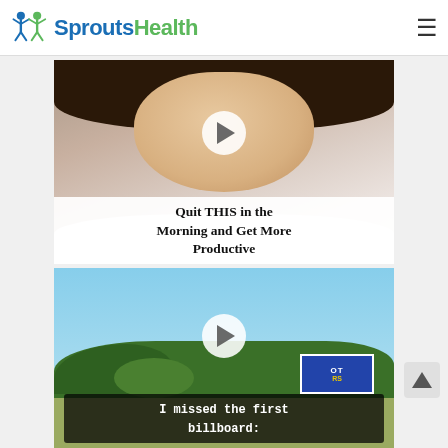Sprouts Health
[Figure (screenshot): Video thumbnail showing a woman's face with a play button overlay and caption 'Quit THIS in the Morning and Get More Productive']
[Figure (screenshot): Video thumbnail showing an outdoor road scene with trees and a blue highway sign, play button overlay, and caption 'I missed the first billboard: 1. "Pros Pasta"']